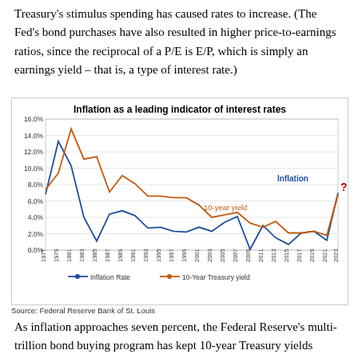Treasury's stimulus spending has caused rates to increase. (The Fed's bond purchases have also resulted in higher price-to-earnings ratios, since the reciprocal of a P/E is E/P, which is simply an earnings yield – that is, a type of interest rate.)
[Figure (line-chart): Inflation as a leading indicator of interest rates]
Source: Federal Reserve Bank of St. Louis
As inflation approaches seven percent, the Federal Reserve's multi-trillion bond buying program has kept 10-year Treasury yields hovering around 1.5